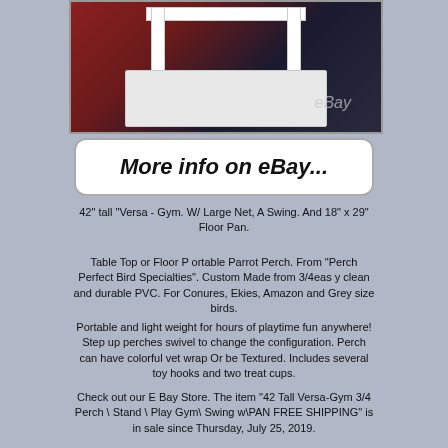[Figure (photo): White PVC parrot play gym/perch stand with tray, photographed against red and dark background, with eBay watermark]
[Figure (other): Button/banner reading 'More info on eBay...' in italic bold font on white rounded rectangle]
42" tall "Versa - Gym. W/ Large Net, A Swing. And 18" x 29" Floor Pan.
Table Top or Floor P ortable Parrot Perch. From "Perch Perfect Bird Specialties". Custom Made from 3/4eas y clean and durable PVC. For Conures, Ekies, Amazon and Grey size birds.
Portable and light weight for hours of playtime fun anywhere! Step up perches swivel to change the configuration. Perch can have colorful vet wrap Or be Textured. Includes several toy hooks and two treat cups.
Check out our E Bay Store. The item "42 Tall Versa-Gym 3/4 Perch \ Stand \ Play Gym\ Swing w\PAN FREE SHIPPING" is in sale since Thursday, July 25, 2019.
This item is in the category "Pet Supplies\Bird...